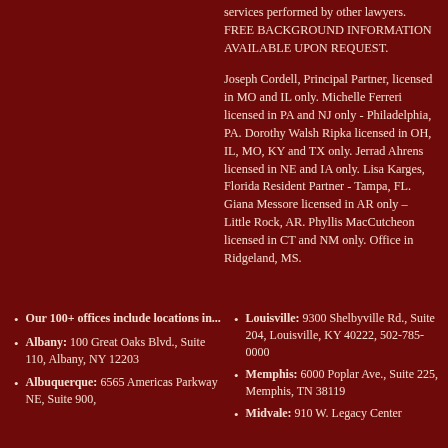services performed by other lawyers. FREE BACKGROUND INFORMATION AVAILABLE UPON REQUEST.
Joseph Cordell, Principal Partner, licensed in MO and IL only. Michelle Ferreri licensed in PA and NJ only - Philadelphia, PA. Dorothy Walsh Ripka licensed in OH, IL, MO, KY and TX only. Jerrad Ahrens licensed in NE and IA only. Lisa Karges, Florida Resident Partner - Tampa, FL. Giana Messore licensed in AR only – Little Rock, AR. Phyllis MacCutcheon licensed in CT and NM only. Office in Ridgeland, MS.
Our 100+ offices include locations in...
Albany: 100 Great Oaks Blvd., Suite 110, Albany, NY 12203
Albuquerque: 6565 Americas Parkway NE, Suite 900,
Louisville: 9300 Shelbyville Rd., Suite 204, Louisville, KY 40222, 502-785-0000
Memphis: 6000 Poplar Ave., Suite 225, Memphis, TN 38119
Midvale: 910 W. Legacy Center